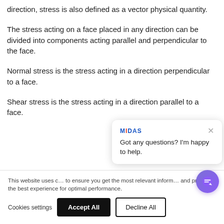direction, stress is also defined as a vector physical quantity.
The stress acting on a face placed in any direction can be divided into components acting parallel and perpendicular to the face.
Normal stress is the stress acting in a direction perpendicular to a face.
Shear stress is the stress acting in a direction parallel to a face.
This website uses cookies to ensure you get the most relevant information and provide the best experience for optimal performance.
Cookies settings | Accept All | Decline All
Got any questions? I'm happy to help.